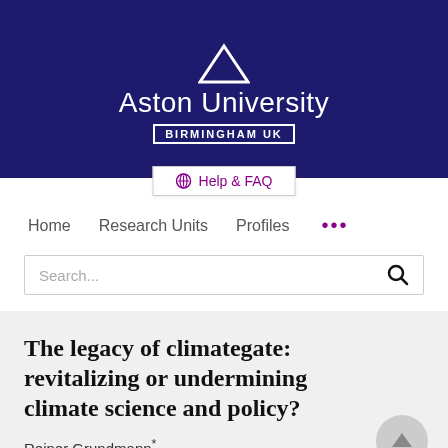[Figure (logo): Aston University Birmingham UK logo on dark navy background with white triangle and text]
⊕ Help & FAQ
Home   Research Units   Profiles   ...
Search...
The legacy of climategate: revitalizing or undermining climate science and policy?
Reiner Grundmann*